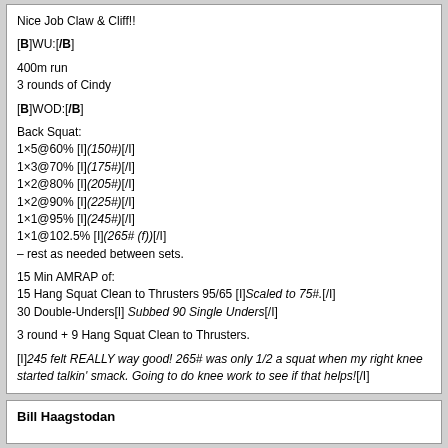Nice Job Claw & Cliff!!
[B]WU:[/B]
400m run
3 rounds of Cindy
[B]WOD:[/B]
Back Squat:
1×5@60% [I](150#)[/I]
1×3@70% [I](175#)[/I]
1×2@80% [I](205#)[/I]
1×2@90% [I](225#)[/I]
1×1@95% [I](245#)[/I]
1×1@102.5% [I](265# (f))[/I]
– rest as needed between sets.
15 Min AMRAP of:
15 Hang Squat Clean to Thrusters 95/65 [I]Scaled to 75#.[/I]
30 Double-Unders[I] Subbed 90 Single Unders[/I]
3 round + 9 Hang Squat Clean to Thrusters.
[I]245 felt REALLY way good! 265# was only 1/2 a squat when my right knee started talkin' smack. Going to do knee work to see if that helps![/I]
Bill Haagstodan